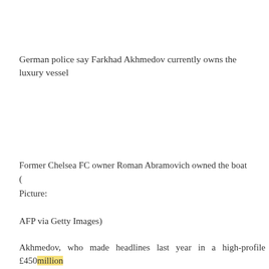German police say Farkhad Akhmedov currently owns the luxury vessel
Former Chelsea FC owner Roman Abramovich owned the boat
(
Picture:

AFP via Getty Images)
Akhmedov, who made headlines last year in a high-profile £450million